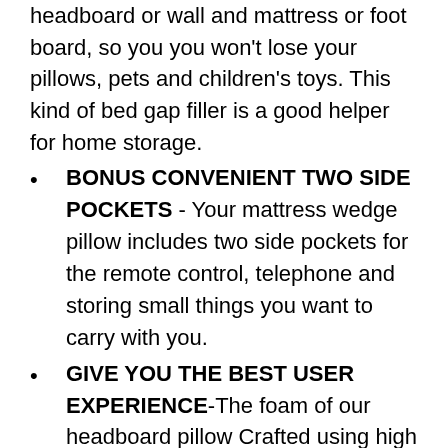headboard or wall and mattress or foot board, so you you won't lose your pillows, pets and children's toys. This kind of bed gap filler is a good helper for home storage.
BONUS CONVENIENT TWO SIDE POCKETS - Your mattress wedge pillow includes two side pockets for the remote control, telephone and storing small things you want to carry with you.
GIVE YOU THE BEST USER EXPERIENCE-The foam of our headboard pillow Crafted using high density foam  The cover of vekkia mattress wedge is crafted from 100% polyester pongee  This wedge triangluar pillow was designed to provide outstanding comfort and support as well as a convenience.so you never have to compromise on comfort.
WITHOUT HESITATION ADD ONE TO YOUR CART TODAY!-The Vekkia headboard pillow is shipped compressed. Remove the package . It will take 12-24